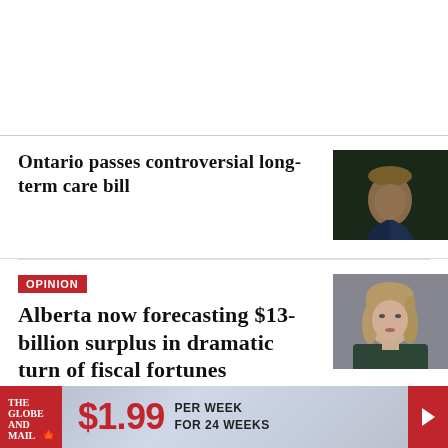Ontario passes controversial long-term care bill
[Figure (photo): Photo of a man in a suit against a dark background]
OPINION
Alberta now forecasting $13-billion surplus in dramatic turn of fiscal fortunes
[Figure (photo): Photo of a blonde woman against a dark background]
KELLY CRYDERMAN
[Figure (infographic): The Globe and Mail subscription banner: $1.99 PER WEEK FOR 24 WEEKS with arrow button]